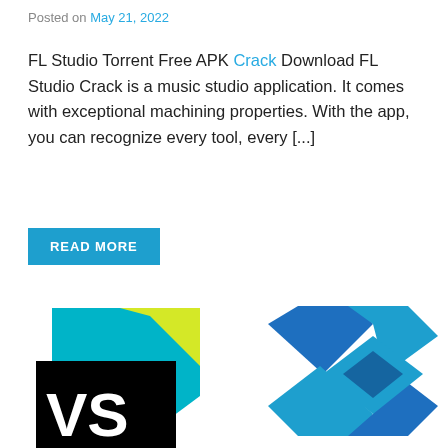Posted on May 21, 2022
FL Studio Torrent Free APK Crack Download FL Studio Crack is a music studio application. It comes with exceptional machining properties. With the app, you can recognize every tool, every [...]
READ MORE
[Figure (logo): Two software logos side by side: left shows JetBrains ReSharper (VS) logo with black rectangle and teal/yellow geometric shape; right shows Visual Studio (blue X shape) logo]